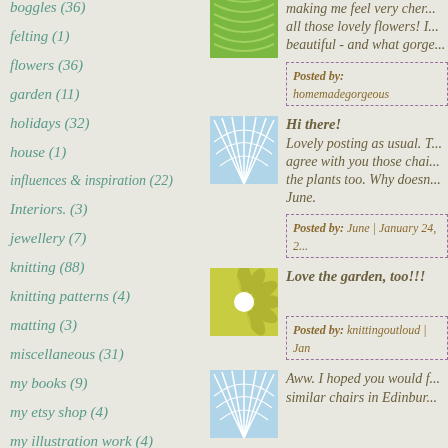boggles (36)
felting (1)
flowers (36)
garden (11)
holidays (32)
house (1)
influences & inspiration (22)
Interiors. (3)
jewellery (7)
knitting (88)
knitting patterns (4)
matting (3)
miscellaneous (31)
my books (9)
my etsy shop (4)
my illustration work (4)
[Figure (illustration): Green decorative tile avatar]
making me feel very cheer... all those lovely flowers! I... beautiful - and what gorge...
Posted by: homemadegorgeous
[Figure (illustration): Blue fan/shell decorative tile avatar]
Hi there!
Lovely posting as usual. T... agree with you those chai... the plants too. Why doesn... June.
Posted by: June | January 24, 2...
[Figure (illustration): Yellow-green flower decorative tile avatar]
Love the garden, too!!!
Posted by: knittingoutloud | Jan
[Figure (illustration): Blue fan/shell decorative tile avatar (second)]
Aww. I hoped you would f... similar chairs in Edinbur...